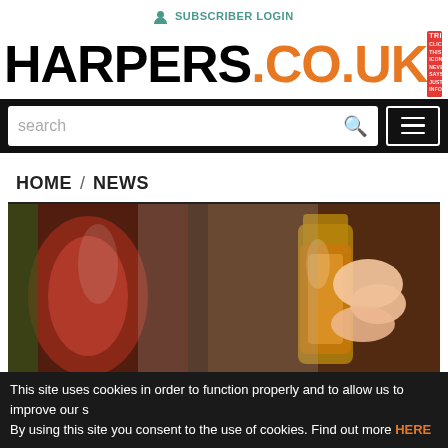SUBSCRIBER LOGIN
HARPERS.CO.UK
[Figure (screenshot): Advertisement banner for Harpers digital subscription - 'SIGN UP NOW FOR A FREE TRIAL']
search
HOME / NEWS
[Figure (photo): Close-up photo of hands holding small glass bottles with amber/red liquid, wine or spirits tasting scene]
This site uses cookies in order to function properly and to allow us to improve our s By using this site you consent to the use of cookies. Find out more HERE